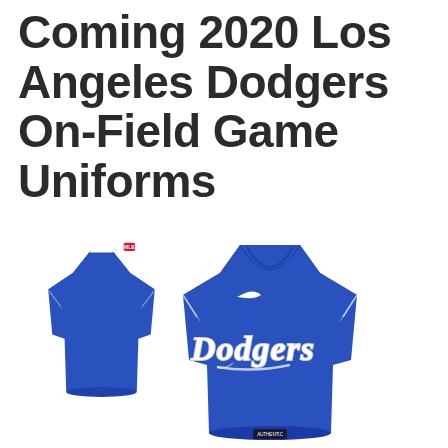Coming 2020 Los Angeles Dodgers On-Field Game Uniforms
[Figure (photo): Two views of a royal blue Los Angeles Dodgers baseball jersey. Left view shows the back of the jersey (plain blue). Right view shows the front with a white Nike swoosh logo on the chest and 'Dodgers' written in white script lettering across the front. Both jerseys have a V-neck and short sleeves with white striped cuffs.]